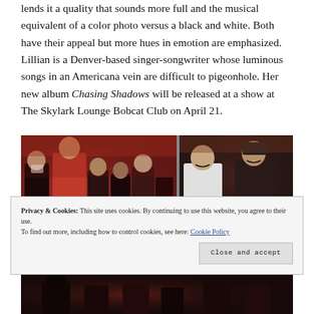lends it a quality that sounds more full and the musical equivalent of a color photo versus a black and white. Both have their appeal but more hues in emotion are emphasized. Lillian is a Denver-based singer-songwriter whose luminous songs in an Americana vein are difficult to pigeonhole. Her new album Chasing Shadows will be released at a show at The Skylark Lounge Bobcat Club on April 21.
[Figure (photo): Two side-by-side photos of a crowded bar/music venue with dim red lighting. Left photo shows people including someone in a red jacket and a person wearing a mask. Right photo shows two women smiling at the camera in a dark venue setting.]
Privacy & Cookies: This site uses cookies. By continuing to use this website, you agree to their use. To find out more, including how to control cookies, see here: Cookie Policy
[Figure (photo): Partial bottom photo of a music venue, darkly lit.]